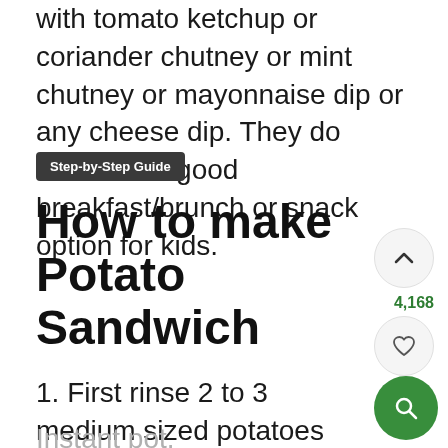with tomato ketchup or coriander chutney or mint chutney or mayonnaise dip or any cheese dip. They do make for a good breakfast/brunch or snack option for kids.
Step-by-Step Guide
How to make Potato Sandwich
4,168
1. First rinse 2 to 3 medium sized potatoes thoroughly in water. Then boil or steam them until fork tender in a pan, or pressure cooker or
Instant pot.